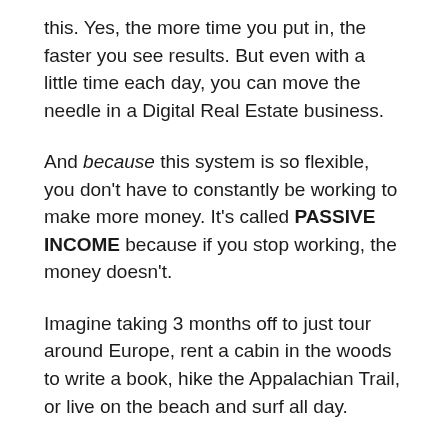this. Yes, the more time you put in, the faster you see results. But even with a little time each day, you can move the needle in a Digital Real Estate business.
And because this system is so flexible, you don't have to constantly be working to make more money. It's called PASSIVE INCOME because if you stop working, the money doesn't.
Imagine taking 3 months off to just tour around Europe, rent a cabin in the woods to write a book, hike the Appalachian Trail, or live on the beach and surf all day.
This is only possible if you have an income stream that's not tied to your time.